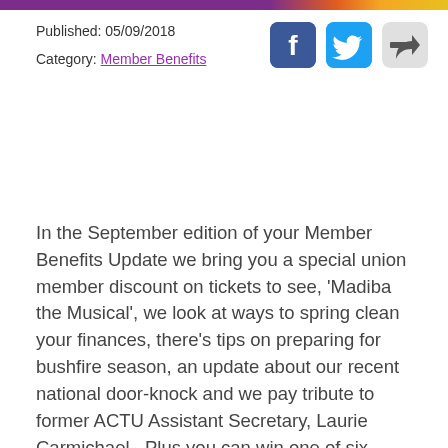Published: 05/09/2018
Category: Member Benefits
In the September edition of your Member Benefits Update we bring you a special union member discount on tickets to see, 'Madiba the Musical', we look at ways to spring clean your finances, there's tips on preparing for bushfire season, an update about our recent national door-knock and we pay tribute to former ACTU Assistant Secretary, Laurie Carmichael.  Plus you can win one of six excellent Madman DVDs.